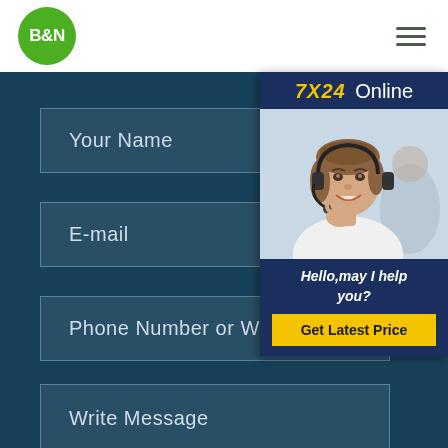[Figure (logo): B&N logo: green circle with white B&N text]
[Figure (infographic): Hamburger menu icon (three horizontal lines)]
Your Name
E-mail
Phone Number or Whatsapp
Write Message
[Figure (infographic): 7X24 Online popup widget with customer service representative photo, 'Hello,may I help you?' text, and 'Get Latest Price' yellow button]